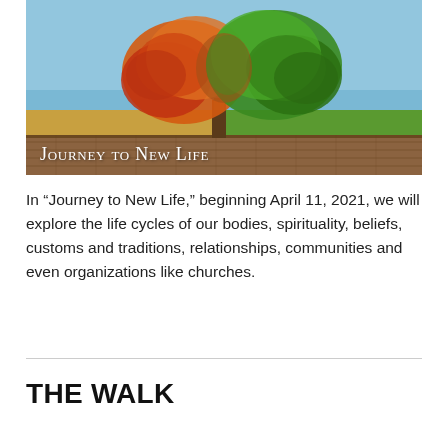[Figure (photo): A photo illustration of a single tree half covered in autumn orange-red leaves and half in summer green leaves, standing in a field with blue sky. A wooden deck/boardwalk is in the foreground. Overlaid text reads 'Journey to New Life'.]
In “Journey to New Life,” beginning April 11, 2021, we will explore the life cycles of our bodies, spirituality, beliefs, customs and traditions, relationships, communities and even organizations like churches.
THE WALK